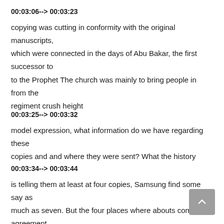00:03:06--> 00:03:23
copying was cutting in conformity with the original manuscripts, which were connected in the days of Abu Bakar, the first successor to to the Prophet The church was mainly to bring people in from the regiment crush height
00:03:25--> 00:03:32
model expression, what information do we have regarding these copies and and where they were sent? What the history
00:03:34--> 00:03:44
is telling them at least at four copies, Samsung find some say as much as seven. But the four places where abouts come in agreement.